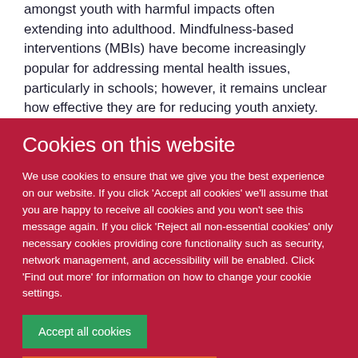amongst youth with harmful impacts often extending into adulthood. Mindfulness-based interventions (MBIs) have become increasingly popular for addressing mental health issues, particularly in schools; however, it remains unclear how effective they are for reducing youth anxiety. This meta-analysis aimed to evaluate the efficacy and effect moderators
Cookies on this website
We use cookies to ensure that we give you the best experience on our website. If you click 'Accept all cookies' we'll assume that you are happy to receive all cookies and you won't see this message again. If you click 'Reject all non-essential cookies' only necessary cookies providing core functionality such as security, network management, and accessibility will be enabled. Click 'Find out more' for information on how to change your cookie settings.